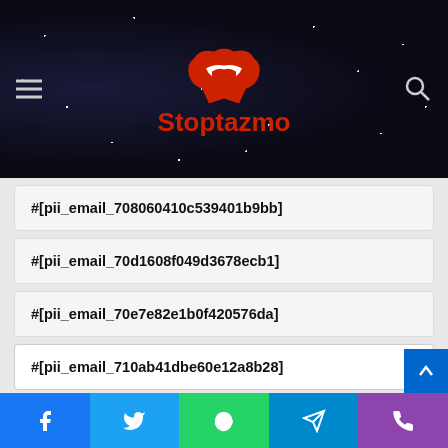Stoptazmo
#[pii_email_708060410c539401b9bb]
#[pii_email_70d1608f049d3678ecb1]
#[pii_email_70e7e82e1b0f420576da]
#[pii_email_710ab41dbe60e12a8b28]
#[pii_email_71babbad8fd9482127bf]
#[pii_email_71e184a6f0a4d86e223f]
#[pii_email_71e6bcfa8a2bee2aa151]
#[pii_email_71ef8742ca0b52c0c92c]